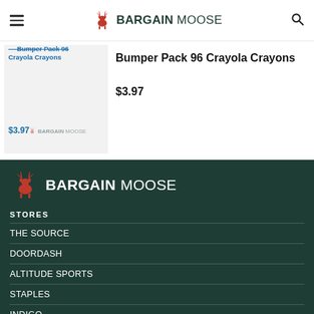BARGAINMOOSE
[Figure (screenshot): Product thumbnail image for Bumper Pack 96 Crayola Crayons showing title in blue text and price $3.97 with BargainMoose watermark]
Bumper Pack 96 Crayola Crayons
$3.97
[Figure (logo): BargainMoose footer logo — red moose icon with white BARGAINMOOSE text on dark green background]
STORES
THE SOURCE
DOORDASH
ALTITUDE SPORTS
STAPLES
INDIGO